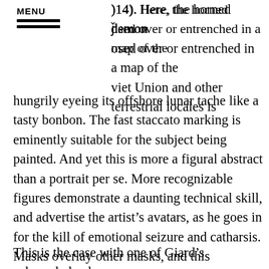MENU
)14). Here, the horned demon ʀsed over or entrenched in a map of the viet Union and other terrestrial locales is hungrily eyeing its offshore lunar tache like a tasty bonbon. The fast staccato marking is eminently suitable for the subject being painted. And yet this is more a figural abstract than a portrait per se. More recognizable figures demonstrate a daunting technical skill, and advertise the artist’s avatars, as he goes in for the kill of emotional seizure and catharsis. Masks overlay other masks, and this dimensional layering adds literal ‘flesh’ to the proceedings.
This is the case with one of Giard’s acknowledged